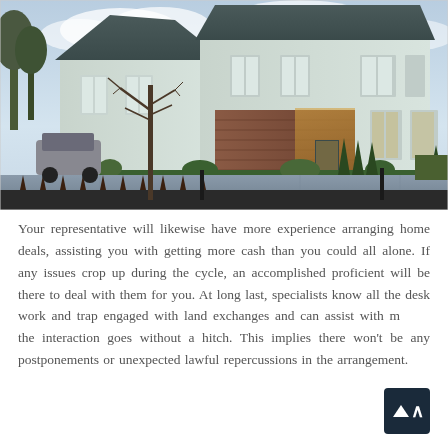[Figure (photo): Exterior photo of a modern two-storey house with grey roof, white rendered walls, brick sections, large windows, illuminated entrance, decorative topiary hedges, paved driveway, ornamental fence in foreground, bare tree on left, cloudy sky background.]
Your representative will likewise have more experience arranging home deals, assisting you with getting more cash than you could all alone. If any issues crop up during the cycle, an accomplished proficient will be there to deal with them for you. At long last, specialists know all the desk work and trap engaged with land exchanges and can assist with making the interaction goes without a hitch. This implies there won't be any postponements or unexpected lawful repercussions in the arrangement.